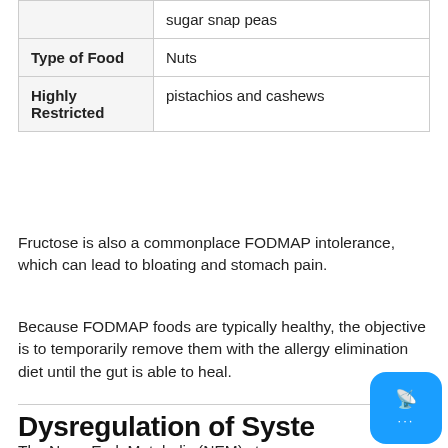|  |  |
| --- | --- |
|  | sugar snap peas |
| Type of Food | Nuts |
| Highly Restricted | pistachios and cashews |
Fructose is also a commonplace FODMAP intolerance, which can lead to bloating and stomach pain.
Because FODMAP foods are typically healthy, the objective is to temporarily remove them with the allergy elimination diet until the gut is able to heal.
Dysregulation of Systems
The NeuroEndoMetabolic (NEM) stress response